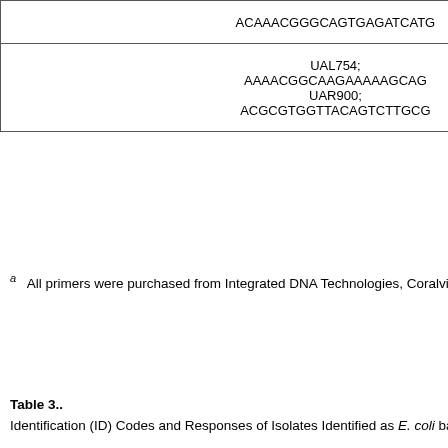|  | UAL754; AAAACGGCAAGAAAAAGCAG UAR900; ACGCGTGGTTACAGTCTTGCG | (truncated right column) |
| --- | --- | --- |
| (seq row above) | apop... indu... |
| UAL754; AAAACGGCAAGAAAAAGCAG UAR900; ACGCGTGGTTACAGTCTTGCG | β-glucuro metabolis methylum β-D-glucu Colis |
a All primers were purchased from Integrated DNA Technologies, Coralville, Iowa.
Table 3.. Identification (ID) Codes and Responses of Isolates Identified as E. coli based on the API 20E and Enterotube II Test Systems
| ID Code a |  | Number of Isolates (% of 45 Total) | ONPG | ADH | LDC |
| --- | --- | --- | --- | --- | --- |
| API 20E | Entero-tube II | Number of Isolates (% of 45 Total) | ONPG | ADH | LDC |